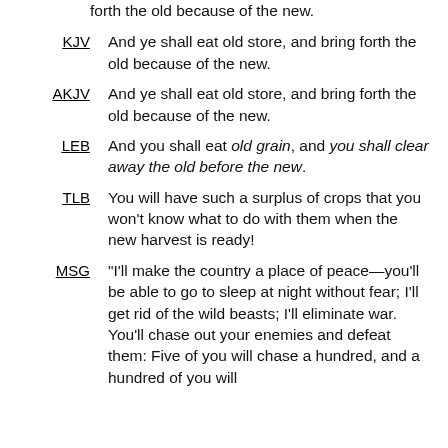forth the old because of the new.
KJV  And ye shall eat old store, and bring forth the old because of the new.
AKJV  And ye shall eat old store, and bring forth the old because of the new.
LEB  And you shall eat old grain, and you shall clear away the old before the new.
TLB  You will have such a surplus of crops that you won’t know what to do with them when the new harvest is ready!
MSG  “I’ll make the country a place of peace—you’ll be able to go to sleep at night without fear; I’ll get rid of the wild beasts; I’ll eliminate war. You’ll chase out your enemies and defeat them: Five of you will chase a hundred, and a hundred of you will